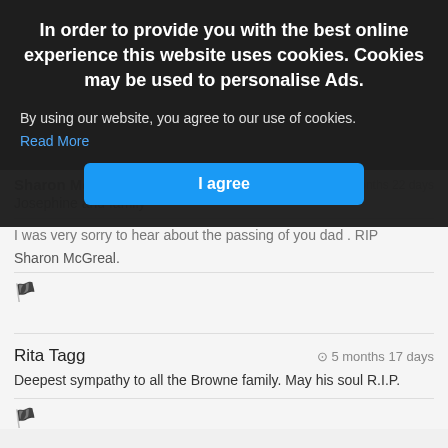In order to provide you with the best online experience this website uses cookies. Cookies may be used to personalise Ads.
By using our website, you agree to our use of cookies. Read More
I agree
Sharon McGreal Scoil Phádraig
Josephine and family
I was very sorry to hear about the passing of you dad . RIP Sharon McGreal.
Rita Tagg
5 months 17 days
Deepest sympathy to all the Browne family. May his soul R.I.P.